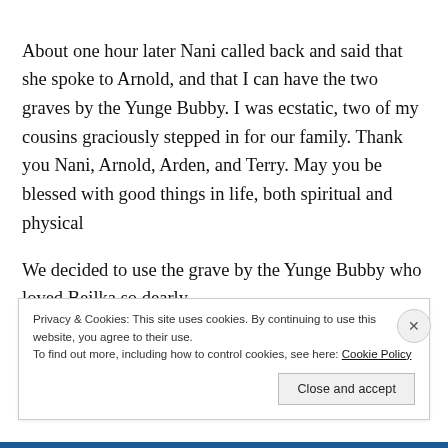About one hour later Nani called back and said that she spoke to Arnold, and that I can have the two graves by the Yunge Bubby. I was ecstatic, two of my cousins graciously stepped in for our family. Thank you Nani, Arnold, Arden, and Terry. May you be blessed with good things in life, both spiritual and physical
We decided to use the grave by the Yunge Bubby who loved Beilka so dearly.
Privacy & Cookies: This site uses cookies. By continuing to use this website, you agree to their use.
To find out more, including how to control cookies, see here: Cookie Policy
Close and accept